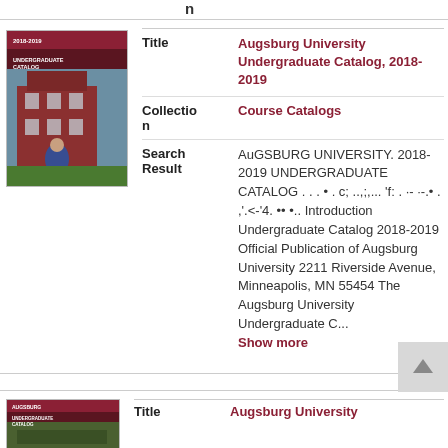n
[Figure (photo): Thumbnail cover image of Augsburg University Undergraduate Catalog 2018-2019, showing a student in front of a red brick building]
| Field | Value |
| --- | --- |
| Title | Augsburg University Undergraduate Catalog, 2018-2019 |
| Collection | Course Catalogs |
| Search Result | AuGSBURG UNIVERSITY. 2018-2019 UNDERGRADUATE CATALOG . . . • . c; ..,;,... 'f: . ·- ·-.• . ,'.< -'4. •• •.. Introduction Undergraduate Catalog 2018-2019 Official Publication of Augsburg University 2211 Riverside Avenue, Minneapolis, MN 55454 The Augsburg University Undergraduate C... Show more |
[Figure (photo): Thumbnail cover image of another Augsburg University catalog]
Title
Augsburg University